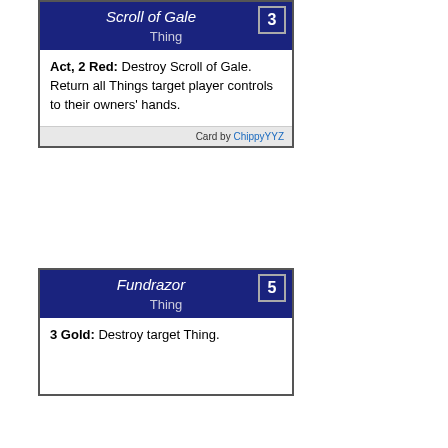Scroll of Gale
Thing
Act, 2 Red: Destroy Scroll of Gale. Return all Things target player controls to their owners' hands.
Card by ChippyYYZ
Fundrazor
Thing
3 Gold: Destroy target Thing.